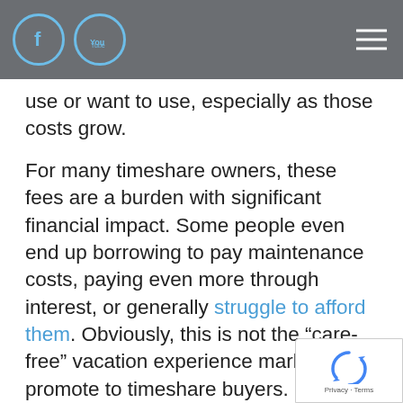use or want to use, especially as those costs grow.
For many timeshare owners, these fees are a burden with significant financial impact. Some people even end up borrowing to pay maintenance costs, paying even more through interest, or generally struggle to afford them. Obviously, this is not the “care-free” vacation experience marketers promote to timeshare buyers. No one should have to worry about paying for essentials because their timeshare cost increases to hundreds of dollars more than they expected, yet this is an unfortunate reality for some.
The rising costs of maintenance fees can place